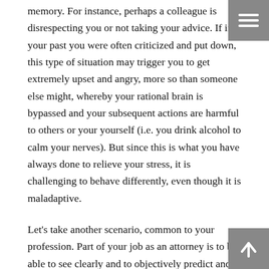memory. For instance, perhaps a colleague is disrespecting you or not taking your advice. If in your past you were often criticized and put down, this type of situation may trigger you to get extremely upset and angry, more so than someone else might, whereby your rational brain is bypassed and your subsequent actions are harmful to others or your yourself (i.e. you drink alcohol to calm your nerves). But since this is what you have always done to relieve your stress, it is challenging to behave differently, even though it is maladaptive.
Let's take another scenario, common to your profession. Part of your job as an attorney is to be able to see clearly and to objectively predict and plan for likely consequences based on advantages and disadvantages of taking various courses of action. When you have no emotional stake in the outcome, attaining this objectivity is more possible. The